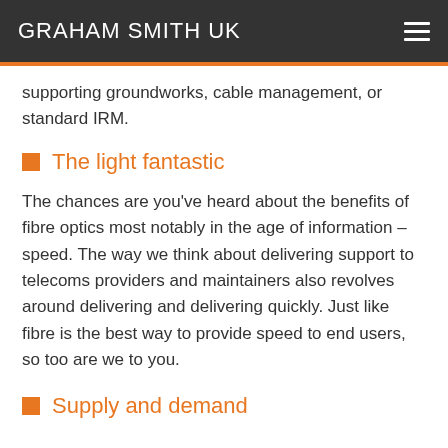GRAHAM SMITH UK
supporting groundworks, cable management, or standard IRM.
The light fantastic
The chances are you've heard about the benefits of fibre optics most notably in the age of information – speed. The way we think about delivering support to telecoms providers and maintainers also revolves around delivering and delivering quickly. Just like fibre is the best way to provide speed to end users, so too are we to you.
Supply and demand